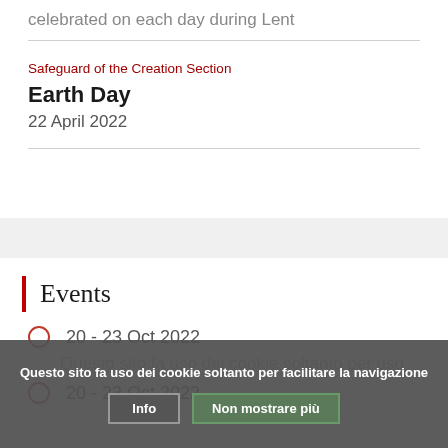celebrated on each day during Lent
Safeguard of the Creation Section
Earth Day
22 April 2022
Events
20 - 23 Oct 2022
20 - 23 Oct 2022
Questo sito fa uso dei cookie soltanto per facilitare la navigazione
Info
Non mostrare più